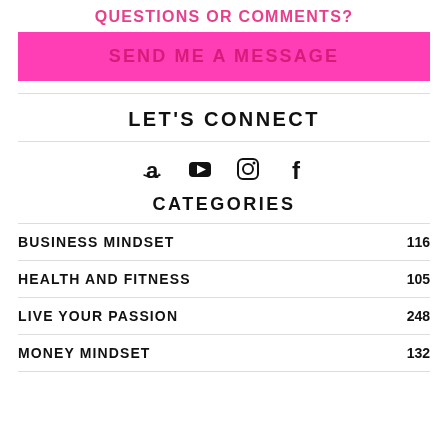QUESTIONS OR COMMENTS?
SEND ME A MESSAGE
LET'S CONNECT
[Figure (infographic): Social media icons: Amazon, YouTube, Instagram, Facebook]
CATEGORIES
BUSINESS MINDSET 116
HEALTH AND FITNESS 105
LIVE YOUR PASSION 248
MONEY MINDSET 132